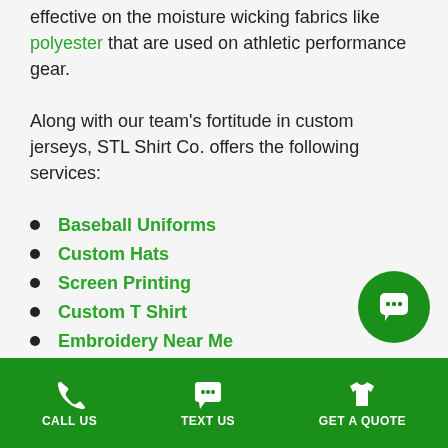effective on the moisture wicking fabrics like polyester that are used on athletic performance gear.
Along with our team's fortitude in custom jerseys, STL Shirt Co. offers the following services:
Baseball Uniforms
Custom Hats
Screen Printing
Custom T Shirt
Embroidery Near Me
T-Shirt Printing
Rush T-Shirt Orders
CALL US   TEXT US   GET A QUOTE